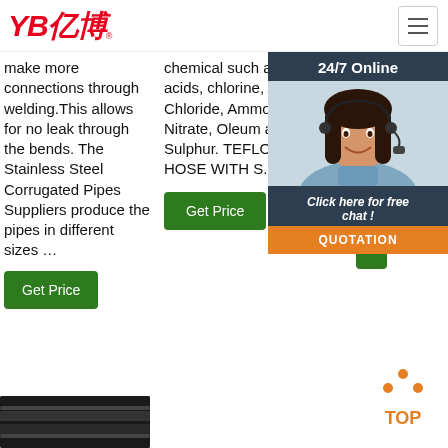[Figure (logo): YB亿博 logo in red italic bold text with registered trademark symbol]
make more connections through welding.This allows for no leak through the bends. The Stainless Steel Corrugated Pipes Suppliers produce the pipes in different sizes …
chemical such as weak acids, chlorine, Acetyl Chloride, Ammonium Nitrate, Oleum and Molten Sulphur. TEFLON PLAIN HOSE WITH S.S. BRAID.
15 HYDRA® GS The Ava 18 I com fron 19 M pro
[Figure (photo): Customer service representative woman with headset, 24/7 Online chat overlay with QUOTATION button]
Get Price
Get Price
G
[Figure (illustration): TOP back-to-top button icon with orange dots forming an upward arrow above the word TOP]